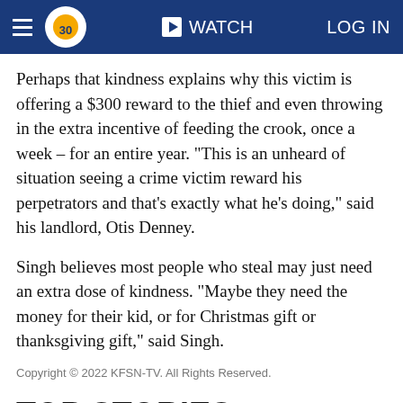abc30 WATCH LOG IN
Perhaps that kindness explains why this victim is offering a $300 reward to the thief and even throwing in the extra incentive of feeding the crook, once a week – for an entire year. "This is an unheard of situation seeing a crime victim reward his perpetrators and that's exactly what he's doing," said his landlord, Otis Denney.
Singh believes most people who steal may just need an extra dose of kindness. "Maybe they need the money for their kid, or for Christmas gift or thanksgiving gift," said Singh.
Copyright © 2022 KFSN-TV. All Rights Reserved.
TOP STORIES
Clovis car dealer inching towards prison for $1 million fraud